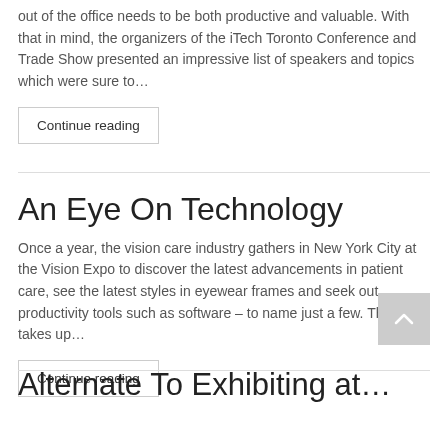out of the office needs to be both productive and valuable. With that in mind, the organizers of the iTech Toronto Conference and Trade Show presented an impressive list of speakers and topics which were sure to…
Continue reading
An Eye On Technology
Once a year, the vision care industry gathers in New York City at the Vision Expo to discover the latest advancements in patient care, see the latest styles in eyewear frames and seek out productivity tools such as software – to name just a few. The show takes up…
Continue reading
Alternate To Exhibiting at…